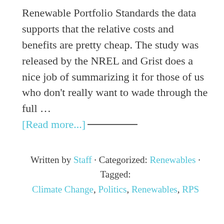Renewable Portfolio Standards the data supports that the relative costs and benefits are pretty cheap. The study was released by the NREL and Grist does a nice job of summarizing it for those of us who don't really want to wade through the full ... [Read more...]
Written by Staff · Categorized: Renewables · Tagged: Climate Change, Politics, Renewables, RPS